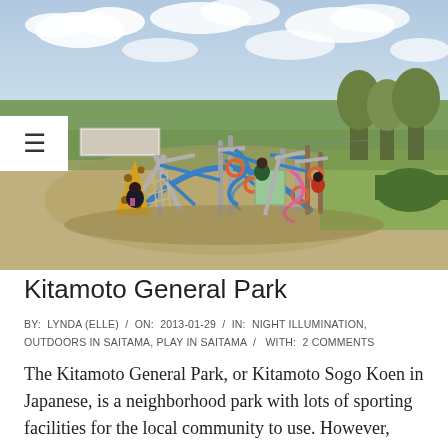[Figure (photo): Children playing on a colorful playground structure with blue metal frames, climbing nets, a yellow climbing wall, and spiral elements in a park with grass and trees in the background. Overcast sky.]
Kitamoto General Park
BY:  LYNDA (ELLE)  /  ON:  2013-01-29  /  IN:  NIGHT ILLUMINATION, OUTDOORS IN SAITAMA, PLAY IN SAITAMA  /  WITH:  2 COMMENTS
The Kitamoto General Park, or Kitamoto Sogo Koen in Japanese, is a neighborhood park with lots of sporting facilities for the local community to use. However, people